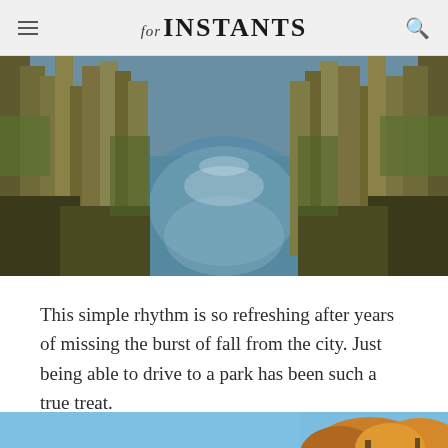for INSTANTS
[Figure (photo): A narrow canal or stream of still blue water reflecting the sky, flanked by dense marsh grasses and reeds on both sides, with golden and green vegetation, outdoor nature scene.]
This simple rhythm is so refreshing after years of missing the burst of fall from the city. Just being able to drive to a park has been such a true treat.
[Figure (photo): Bottom portion of a nature scene showing a clear blue sky with trees bearing orange and yellow autumn foliage in the lower right corner.]